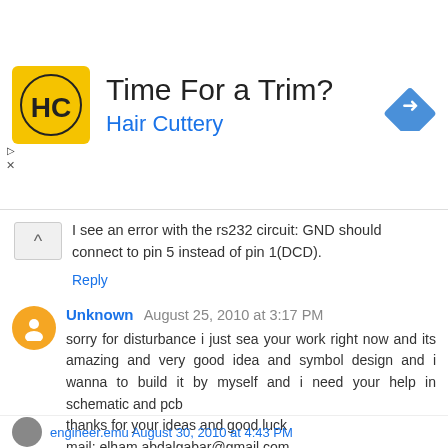[Figure (infographic): Advertisement banner for Hair Cuttery with logo, text 'Time For a Trim? Hair Cuttery' and navigation arrow icon]
I see an error with the rs232 circuit: GND should connect to pin 5 instead of pin 1(DCD).
Reply
Unknown August 25, 2010 at 3:17 PM
sorry for disturbance i just sea your work right now and its amazing and very good idea and symbol design and i wanna to build it by myself and i need your help in schematic and pcb
thanks for your ideas and good luck
mail: elham.abdalgabar@gmail.com
Reply
engineer.emu August 30, 2010 at 4:43 PM